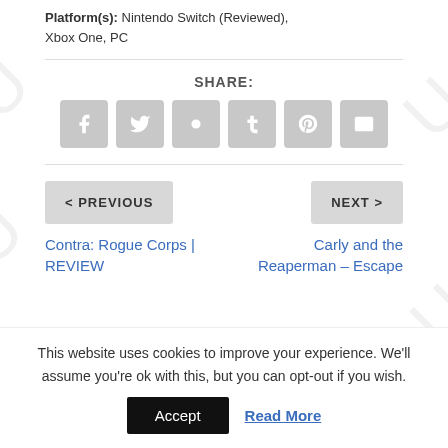Platform(s): Nintendo Switch (Reviewed), Xbox One, PC
SHARE:
[Figure (infographic): Social share buttons: Facebook, Twitter, Google+, Tumblr, Pinterest, Email]
< PREVIOUS
Contra: Rogue Corps | REVIEW
NEXT >
Carly and the Reaperman – Escape
This website uses cookies to improve your experience. We'll assume you're ok with this, but you can opt-out if you wish.
Accept
Read More